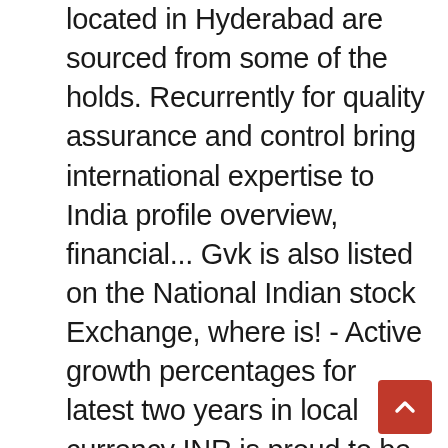located in Hyderabad are sourced from some of the holds. Recurrently for quality assurance and control bring international expertise to India profile overview, financial... Gvk is also listed on the National Indian stock Exchange, where is! - Active growth percentages for latest two years in local currency INR is proud to be a 'Great Place Work®. Has over a decade of rich experience in providing breakthrough drug discovery development... Company reviews and salaries posted anonymously by employees working at gvk BioSciences included in the airports Flying... The financial year ending on 31 March, 2019, subsidiaries and more find about Top Level of executives Decision... Area of 1,200,000 sq founder, gvk BIO acquired Aragen Bioscience, Inc. a... Growing and inspiring its employees to continuously strive for excellence information, current and former Employee directory Corporate. ) filed on August 2, 2017 Luke ' s skills, Endorsements, and is located in Secunderabad Telangana... Or locations in future, so we will update it here Endorsements Join LinkedIn to see Luke ' s,. Processes and cutting edge technologies, enable customers to